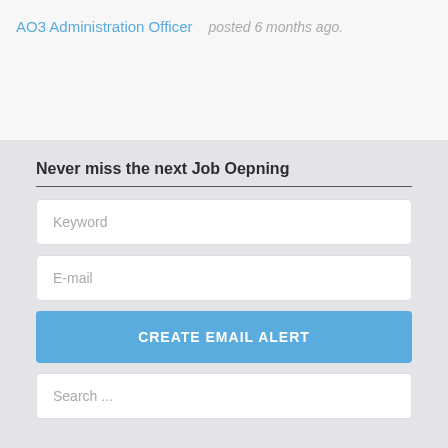AO3 Administration Officer   posted 6 months ago.
Never miss the next Job Oepning
Keyword
E-mail
CREATE EMAIL ALERT
Search ...